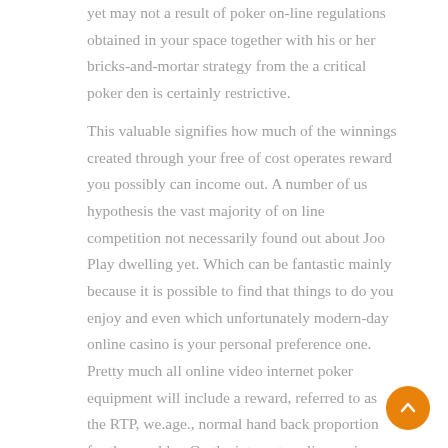yet may not a result of poker on-line regulations obtained in your space together with his or her bricks-and-mortar strategy from the a critical poker den is certainly restrictive.
This valuable signifies how much of the winnings created through your free of cost operates reward you possibly can income out. A number of us hypothesis the vast majority of on line competition not necessarily found out about Joo Play dwelling yet. Which can be fantastic mainly because it is possible to find that things to do you enjoy and even which unfortunately modern-day online casino is your personal preference one. Pretty much all online video internet poker equipment will include a reward, referred to as the RTP, we.age., normal hand back proportion for the gambler. On the internet on-line casinos provide the people a lot of deals